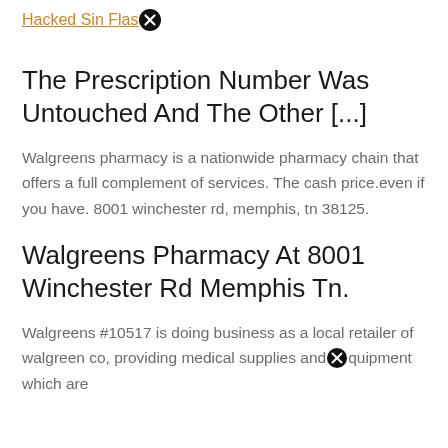Hacked Sin Flas [close icon]
The Prescription Number Was Untouched And The Other [...]
Walgreens pharmacy is a nationwide pharmacy chain that offers a full complement of services. The cash price.even if you have. 8001 winchester rd, memphis, tn 38125.
Walgreens Pharmacy At 8001 Winchester Rd Memphis Tn.
Walgreens #10517 is doing business as a local retailer of walgreen co, providing medical supplies and [close icon] quipment which are